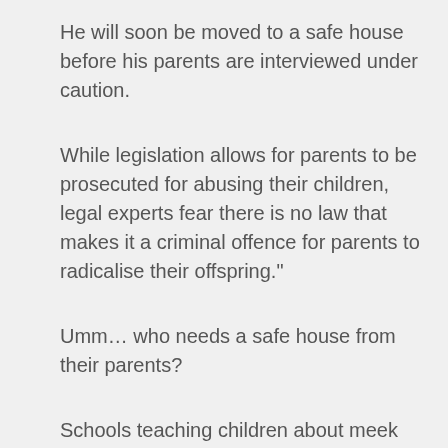He will soon be moved to a safe house before his parents are interviewed under caution.
While legislation allows for parents to be prosecuted for abusing their children, legal experts fear there is no law that makes it a criminal offence for parents to radicalise their offspring."
Umm… who needs a safe house from their parents?
Schools teaching children about meek and mild Muhammadanism, sets them up to be violated. The same for